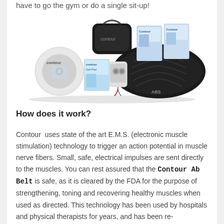have to go the gym or do a single sit-up!
[Figure (photo): Contour Ab Belt product collection showing the ABS belt device, controller unit, gel pads, DVD, packaging boxes, and carrying case arranged together]
How does it work?
Contour uses state of the art E.M.S. (electronic muscle stimulation) technology to trigger an action potential in muscle nerve fibers. Small, safe, electrical impulses are sent directly to the muscles. You can rest assured that the Contour Ab Belt is safe, as it is cleared by the FDA for the purpose of strengthening, toning and recovering healthy muscles when used as directed. This technology has been used by hospitals and physical therapists for years, and has been re-engineered to benefit healthy